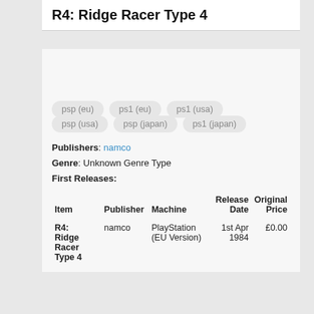R4: Ridge Racer Type 4
psp (eu)
ps1 (eu)
ps1 (usa)
psp (usa)
psp (japan)
ps1 (japan)
Publishers: namco
Genre: Unknown Genre Type
First Releases:
| Item | Publisher | Machine | Release Date | Original Price |
| --- | --- | --- | --- | --- |
| R4: Ridge Racer Type 4 | namco | PlayStation (EU Version) | 1st Apr 1984 | £0.00 |